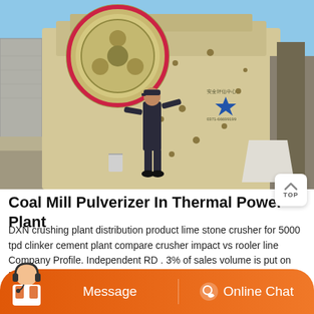[Figure (photo): A worker standing in front of a large yellow industrial jaw crusher / coal mill pulverizer machine outdoors. The machine has a large flywheel visible at the top. There is a blue star logo and Chinese text on the machine body.]
Coal Mill Pulverizer In Thermal Power Plant
DXN crushing plant distribution product lime stone crusher for 5000 tpd clinker cement plant compare crusher impact vs rooler line Company Profile. Independent RD . 3% of sales volume is put on RD every year. Supported by computer-aided design systems --- CAD and Solidworks, simulation analysis software --- Ansy and matlab, programming ...